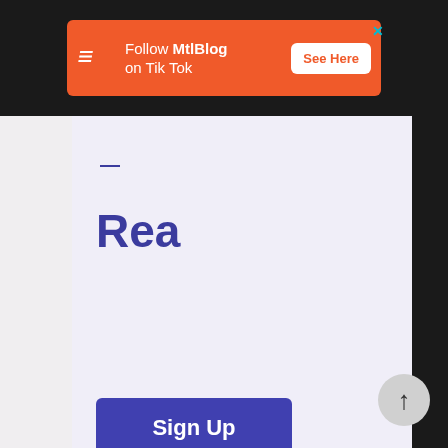[Figure (screenshot): Orange advertisement banner for MtlBlog TikTok with logo, text 'Follow MtlBlog on Tik Tok', and 'See Here' button]
—
Rea
[Figure (infographic): Purple 'Sign Up' button]
[Figure (other): Scroll-to-top circular button with upward arrow]